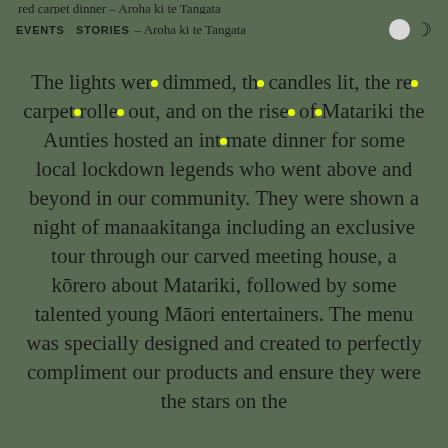EVENTS  STORIES — red carpet dinner – Aroha ki te Tangata
The lights were dimmed, the candles lit, the red carpet rolled out, and on the rise of Matariki the Aunties hosted an intimate dinner for some local lockdown legends who went above and beyond in our community. They were shown a night of manaakitanga including an exclusive tour through our carved meeting house, a kōrero about Matariki, followed by some talented young Māori entertainers. The menu was specially designed and created to perfectly compliment our products and ensure they were the stars on the